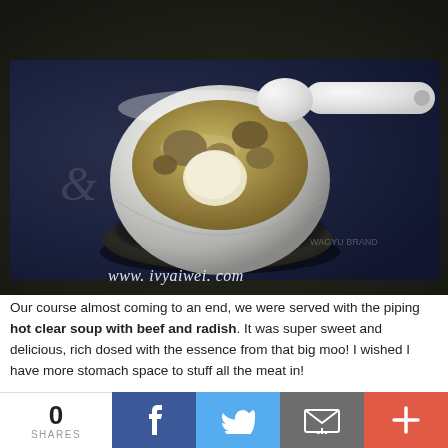[Figure (photo): A white ceramic bowl of clear soup with beef and radish pieces, sitting on a dark ceramic saucer/plate, with a white spoon, placed on a dark blue menu/placemat. Watermark 'www.ivyaiwei.com' in italic text at bottom right.]
Our course almost coming to an end, we were served with the piping hot clear soup with beef and radish. It was super sweet and delicious, rich dosed with the essence from that big moo! I wished I have more stomach space to stuff all the meat in!
[Figure (photo): Partial photo of a person in dark chef uniform, cropped at the top.]
0 SHARES
[Figure (infographic): Social sharing bar with Facebook (blue), Twitter (light blue), Email (grey), and More/Plus (red/orange) buttons.]